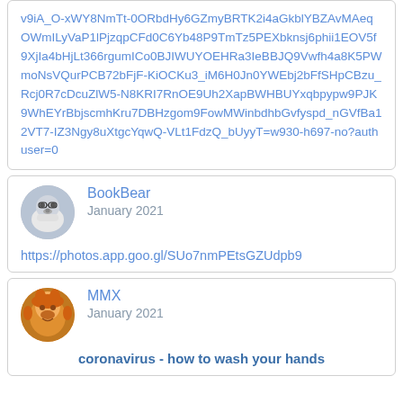v9iA_O-xWY8NmTt-0ORbdHy6GZmyBRTK2i4aGkblYBZAvMAeqOWmILyVaP1lPjzqpCFd0C6Yb48P9TmTz5PEXbknsj6phii1EOV5f9XjIa4bHjLt366rgumICo0BJIWUYOEHRa3IeBBJQ9Vwfh4a8K5PWmoNsVQurPCB72bFjF-KiOCKu3_iM6H0Jn0YWEbj2bFfSHpCBzu_Rcj0R7cDcuZlW5-N8KRI7RnOE9Uh2XapBWHBUYxqbpypw9PJK9WhEYrBbjscmhKru7DBHzgom9FowMWinbdhbGvfyspd_nGVfBa12VT7-IZ3Ngy8uXtgcYqwQ-VLt1FdzQ_bUyyT=w930-h697-no?authuser=0
BookBear
January 2021
https://photos.app.goo.gl/SUo7nmPEtsGZUdpb9
MMX
January 2021
coronavirus - how to wash your hands